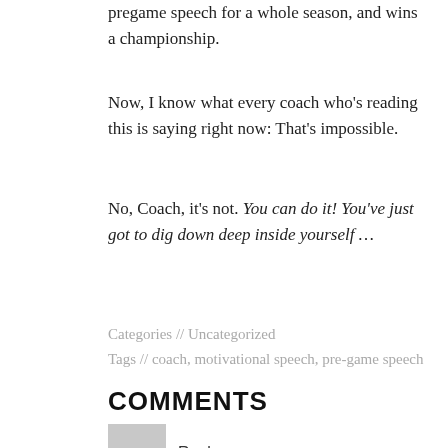pregame speech for a whole season, and wins a championship.
Now, I know what every coach who's reading this is saying right now: That's impossible.
No, Coach, it's not. You can do it! You've just got to dig down deep inside yourself …
Categories // Uncategorized
Tags // coach, motivational speech, pre-game speech
COMMENTS
Rueben says